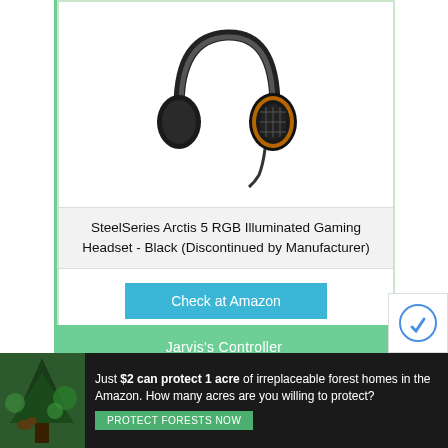[Figure (photo): SteelSeries Arctis 5 RGB Illuminated Gaming Headset in black with orange accent ring on earcup and cable dangling below]
SteelSeries Arctis 5 RGB Illuminated Gaming Headset - Black (Discontinued by Manufacturer)
Check at Amazon
Jarvis's Controller
[Figure (photo): Gaming controller, partially visible at bottom of card]
[Figure (photo): Advertisement banner: forest/nature scene with text about protecting forest homes in the Amazon]
Just $2 can protect 1 acre of irreplaceable forest homes in the Amazon. How many acres are you willing to protect?
PROTECT FORESTS NOW